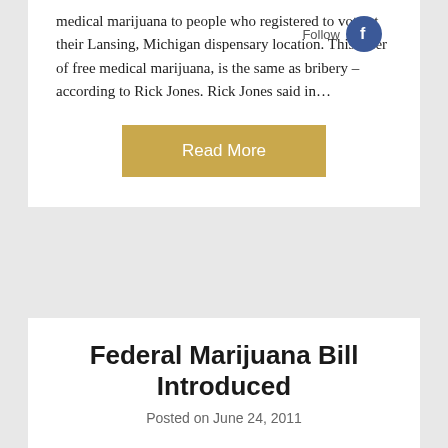medical marijuana to people who registered to vote at their Lansing, Michigan dispensary location. This offer of free medical marijuana, is the same as bribery – according to Rick Jones. Rick Jones said in…
Read More
Federal Marijuana Bill Introduced
Posted on June 24, 2011
A new federal marijuana bill was introduced to congress today that will officially stop the U.S. Federal War on cannabis. If passed the bill called the "Ending Federal Marijuana Prohibition Act of 2011"